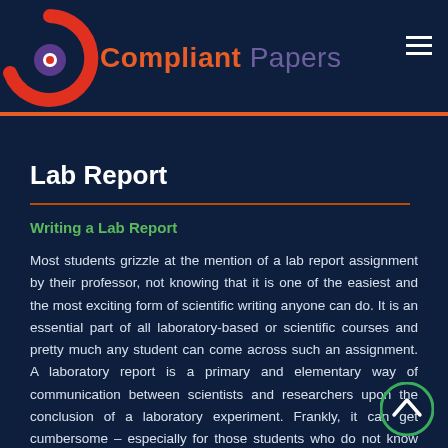Compliant Papers
Lab Report
Writing a Lab Report
Most students grizzle at the mention of a lab report assignment by their professor, not knowing that it is one of the easiest and the most exciting form of scientific writing anyone can do. It is an essential part of all laboratory-based or scientific courses and pretty much any student can come across such an assignment. A laboratory report is a primary and elementary way of communication between scientists and researchers upon the conclusion of a laboratory experiment. Frankly, it can get cumbersome – especially for those students who do not know the exact format of a scientific lab report. Lucky enough, we have you covered as we are